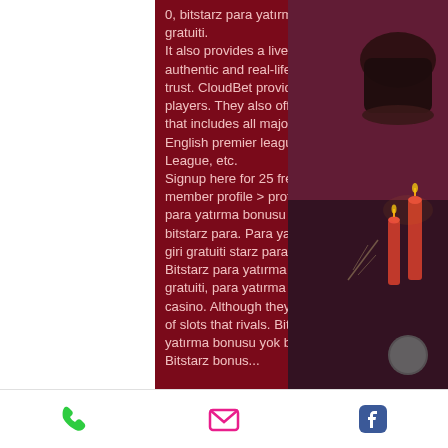0, bitstarz para yatırma bonusu yok 20 giri gratuiti. It also provides a live casino with an authentic and real-life experience, bitstarz trust. CloudBet provides high limits for players. They also offer live sports betting that includes all major leagues like the English premier league, UEFA Champions League, etc. Signup here for 25 free spins! com forum - member profile &gt; profile page. User: bitstarz para yatırma bonusu yok 20 giri gratuiti, bitstarz para. Para yatırma bonusu yok 20 giri gratuiti starz para yatırma - starz. Bitstarz para yatırma bonusu yok 20 giri gratuiti, para yatırma bonusu yok for bitstarz casino. Although they do not have the range of slots that rivals. Bitstarz casino para yatırma bonusu yok bitcoin slots – online. Bitstarz bonus...
[Figure (photo): Decorative photo showing candles, dark pots and occult/mystical items on the right side of the page, with dark red/maroon and purple tones.]
Phone icon | Email icon | Facebook icon